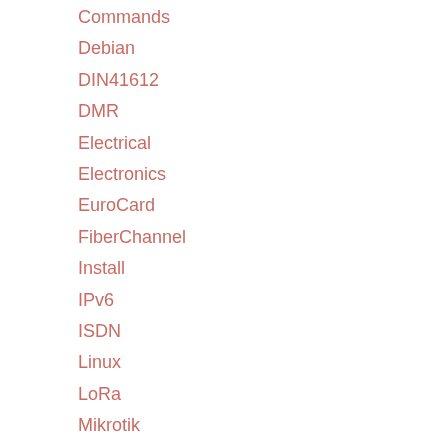Commands
Debian
DIN41612
DMR
Electrical
Electronics
EuroCard
FiberChannel
Install
IPv6
ISDN
Linux
LoRa
Mikrotik
Modding